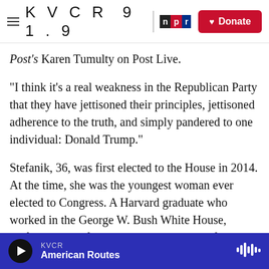KVCR 91.9 npr | Donate
Post's Karen Tumulty on Post Live.
"I think it's a real weakness in the Republican Party that they have jettisoned their principles, jettisoned adherence to the truth, and simply pandered to one individual: Donald Trump."
Stefanik, 36, was first elected to the House in 2014. At the time, she was the youngest woman ever elected to Congress. A Harvard graduate who worked in the George W. Bush White House, Stefanik has shifted her political alliances from being closely aligned to the GOP's establishment
KVCR | American Routes